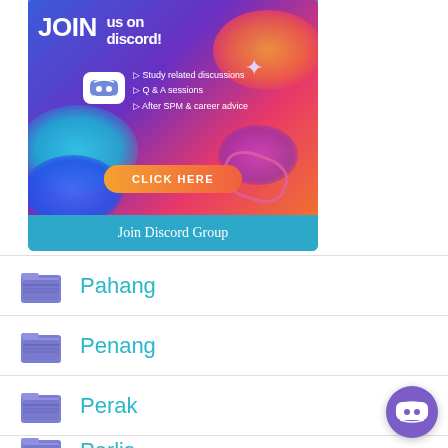[Figure (illustration): Discord promotional banner with blue/purple gradient background, colorful blobs, Discord logo, text 'JOIN us on discord!' with bullet points for Study related discussions, Q & A sessions, After SPM & career advice, and an orange CLICK HERE button]
Join Discord Group
Pahang
Penang
Perak
Perlis